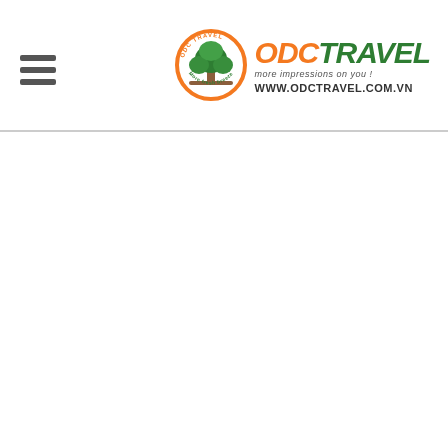ODC TRAVEL - more impressions on you! - www.odctravel.com.vn